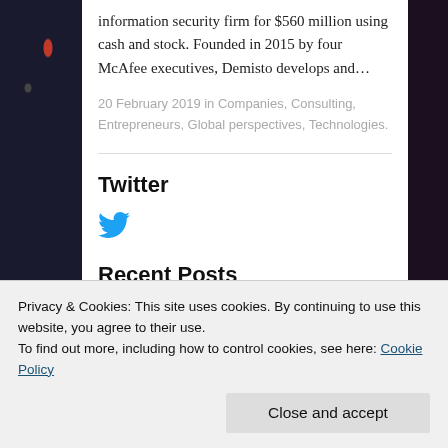information security firm for $560 million using cash and stock. Founded in 2015 by four McAfee executives, Demisto develops and…
20 February 2019 in Companies, Consulting, Entrepreneurs, Global perspectives, Technologies.
Twitter
[Figure (logo): Twitter bird logo icon in blue]
Recent Posts
Privacy & Cookies: This site uses cookies. By continuing to use this website, you agree to their use.
To find out more, including how to control cookies, see here: Cookie Policy
Close and accept